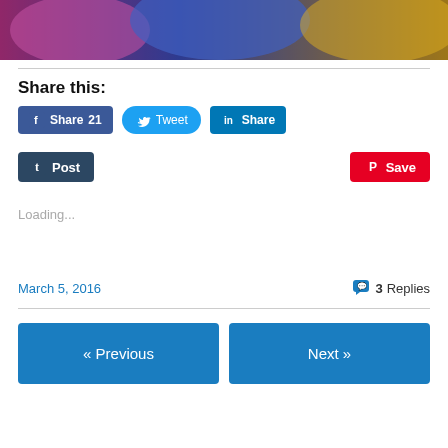[Figure (photo): Partial photo of performers in colorful costumes on stage, cropped at top of page]
Share this:
Facebook Share 21  Twitter Tweet  LinkedIn Share
Tumblr Post   Pinterest Save
Loading...
March 5, 2016
3 Replies
« Previous
Next »